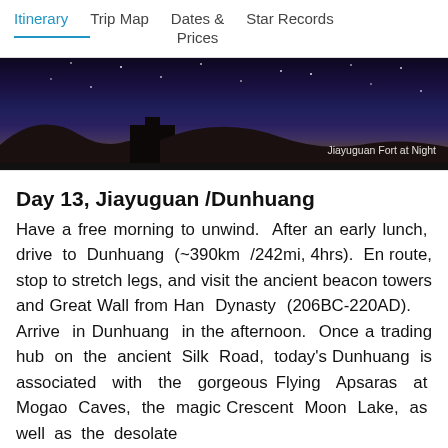Itinerary  Trip Map  Dates & Prices  Star Records
[Figure (photo): Night photo of Jiayuguan Fort with dark sky, stars, and silhouetted hills. Caption reads: Jiayuguan Fort at Night]
Day 13, Jiayuguan /Dunhuang
Have a free morning to unwind. After an early lunch, drive to Dunhuang (~390km /242mi, 4hrs). En route, stop to stretch legs, and visit the ancient beacon towers and Great Wall from Han Dynasty (206BC-220AD). Arrive in Dunhuang in the afternoon. Once a trading hub on the ancient Silk Road, today's Dunhuang is associated with the gorgeous Flying Apsaras at Mogao Caves, the magic Crescent Moon Lake, as well as the desolate Gobi desert and endless sand dunes. Be...